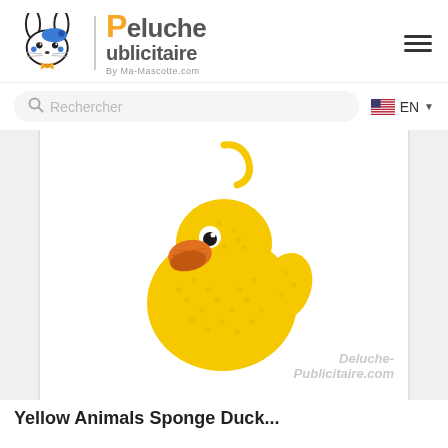[Figure (logo): Peluche Publicitaire logo with cartoon bunny/dog mascot, orange bowtie, blue beret, and orange letter P brand name]
[Figure (other): Hamburger menu icon (three horizontal lines)]
[Figure (other): Search bar with magnifying glass icon and placeholder text 'Rechercher', plus EN language selector with US flag]
[Figure (photo): Yellow crochet/knit rubber duck toy with orange beak and hanging loop, on white background, with Deluche-Publicitaire.com watermark]
Yellow Animals Sponge Duck...